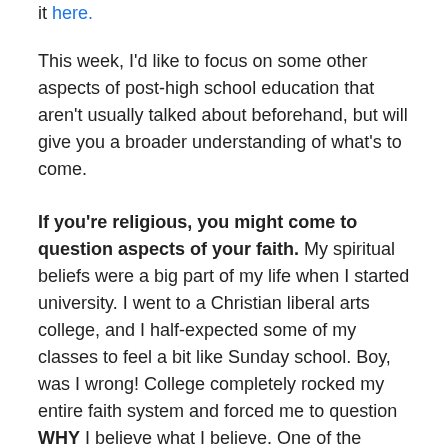it here.
This week, I'd like to focus on some other aspects of post-high school education that aren't usually talked about beforehand, but will give you a broader understanding of what's to come.
If you're religious, you might come to question aspects of your faith. My spiritual beliefs were a big part of my life when I started university. I went to a Christian liberal arts college, and I half-expected some of my classes to feel a bit like Sunday school. Boy, was I wrong! College completely rocked my entire faith system and forced me to question WHY I believe what I believe. One of the greatest takeaways from my college experience was that I built a strong foundation for my personal spiritual values, and learned to not just believe in them because